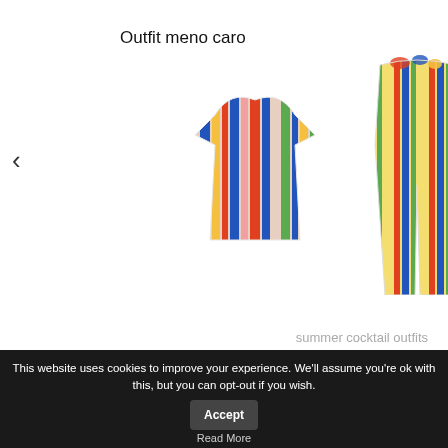Outfit meno caro
[Figure (photo): Colorful striped short-sleeve crop top with vertical multicolor stripes in blue, orange, red, pink, yellow and green]
[Figure (photo): Colorful striped wide-leg pants with vertical multicolor stripes in blue, yellow, green, red, with a bow/tie at waist]
summer cocktail outfits
[Figure (photo): Black image area (video or content block, fully black)]
This website uses cookies to improve your experience. We'll assume you're ok with this, but you can opt-out if you wish.
Accept
Read More